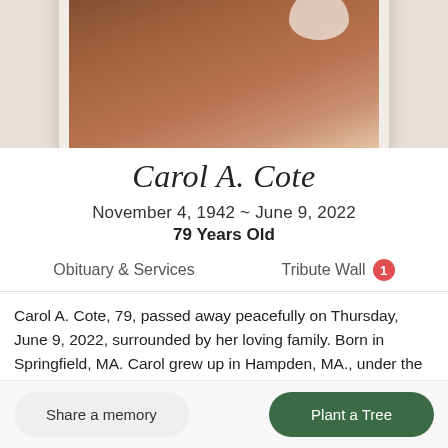[Figure (photo): Partial portrait photo of Carol A. Cote in a white frame, showing warm brown tones, displayed in the upper portion of the obituary page]
Carol A. Cote
November 4, 1942 ~ June 9, 2022
79 Years Old
Obituary & Services
Tribute Wall 1
Carol A. Cote, 79, passed away peacefully on Thursday, June 9, 2022, surrounded by her loving family. Born in Springfield, MA. Carol grew up in Hampden, MA., under the loving care of
Share a memory
Plant a Tree